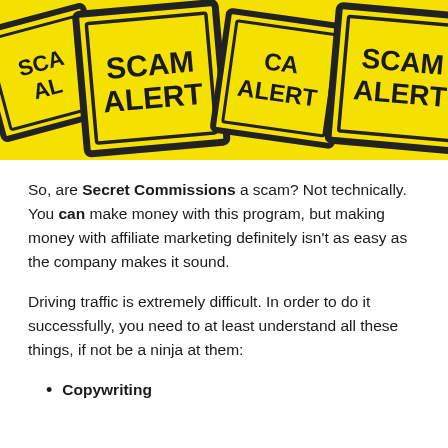[Figure (photo): Multiple yellow diamond-shaped 'SCAM ALERT' warning signs overlapping each other with black text and black borders]
So, are Secret Commissions a scam? Not technically. You can make money with this program, but making money with affiliate marketing definitely isn't as easy as the company makes it sound.
Driving traffic is extremely difficult. In order to do it successfully, you need to at least understand all these things, if not be a ninja at them:
Copywriting